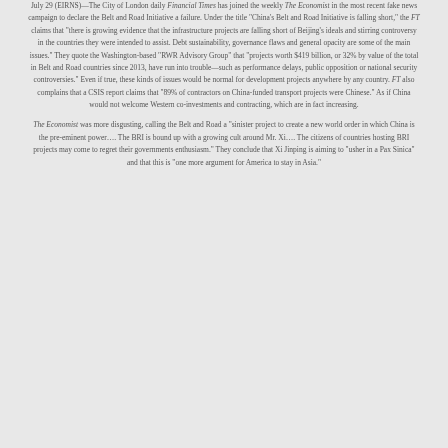July 29 (EIRNS)—The City of London daily Financial Times has joined the weekly The Economist in the most recent fake news campaign to declare the Belt and Road Initiative a failure. Under the title "China's Belt and Road Initiative is falling short," the FT claims that "there is growing evidence that the infrastructure projects are falling short of Beijing's ideals and stirring controversy in the countries they were intended to assist. Debt sustainability, governance flaws and general opacity are some of the main issues." They quote the Washington-based "RWR Advisory Group" that "projects worth $419 billion, or 32% by value of the total in Belt and Road countries since 2013, have run into trouble—such as performance delays, public opposition or national security controversies." Even if true, these kinds of issues would be normal for development projects anywhere by any country. FT also complains that a CSIS report claims that "89% of contractors on China-funded transport projects were Chinese." As if China would not welcome Western co-investments and contracting, which are in fact increasing.
The Economist was more disgusting, calling the Belt and Road a "sinister project to create a new world order in which China is the pre-eminent power…. The BRI is bound up with a growing cult around Mr. Xi…. The citizens of countries hosting BRI projects may come to regret their governments enthusiasm." They conclude that Xi Jinping is aiming to "usher in a Pax Sinica" and that this is "one more argument for America to stay in Asia."